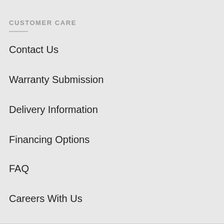CUSTOMER CARE
Contact Us
Warranty Submission
Delivery Information
Financing Options
FAQ
Careers With Us
DON'T MISS A DEAL!
Subscribe to our newsletter for the latest, greatest deals:
[Figure (illustration): Blue circular chat bubble icon with message lines in white]